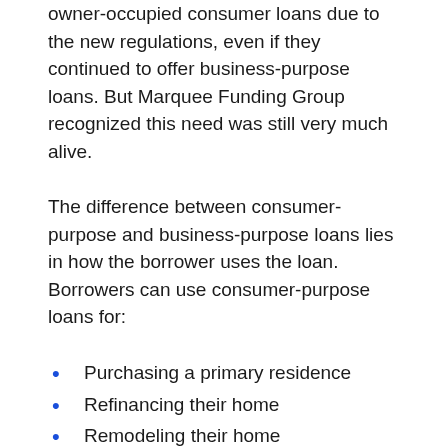owner-occupied consumer loans due to the new regulations, even if they continued to offer business-purpose loans. But Marquee Funding Group recognized this need was still very much alive.
The difference between consumer-purpose and business-purpose loans lies in how the borrower uses the loan. Borrowers can use consumer-purpose loans for:
Purchasing a primary residence
Refinancing their home
Remodeling their home
Acquiring a second, third, or fourth mortgage
Consolidating debt
Using as a bridge loan
Settling legal, estate, or probate issues